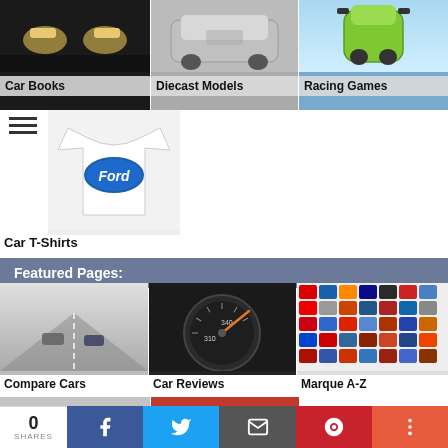[Figure (photo): Car Books - three column grid item showing headlights of classic car]
[Figure (photo): Diecast Models - three column grid item showing silver DeLorean]
[Figure (photo): Racing Games - three column grid item showing green sports car from above]
[Figure (photo): Car T-Shirts - white Ford long-sleeve t-shirt]
Featured Pages:
[Figure (photo): Compare Cars - two cars racing on road]
[Figure (photo): Car Reviews - close up of speedometer]
[Figure (photo): Marque A-Z - grid of car brand logos]
[Figure (photo): Partial row - two more category images partially visible]
0 SHARES  [Facebook] [Twitter] [Email] [Pinterest] [More]